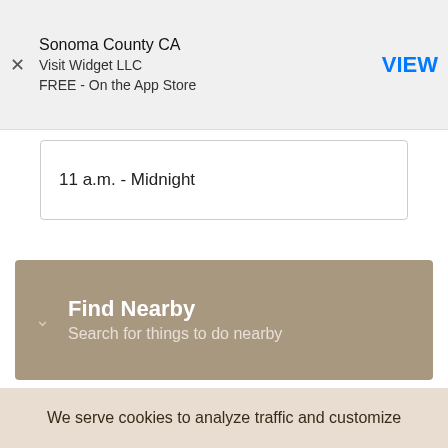Sonoma County CA
Visit Widget LLC
FREE - On the App Store
VIEW
11 a.m. - Midnight
Find Nearby
Search for things to do nearby
We serve cookies to analyze traffic and customize